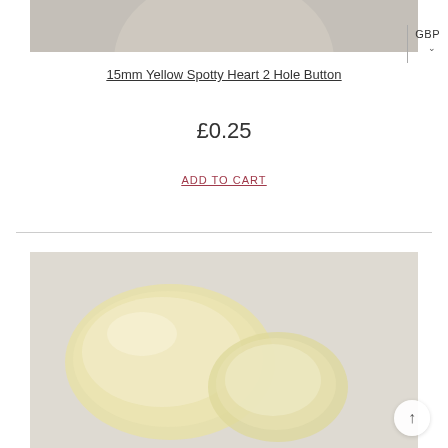[Figure (photo): Top portion of a product photo showing a yellow spotty heart 2 hole button on a grey background]
15mm Yellow Spotty Heart 2 Hole Button
£0.25
ADD TO CART
[Figure (photo): Close-up product photo of a pale yellow semi-transparent heart-shaped 2 hole button]